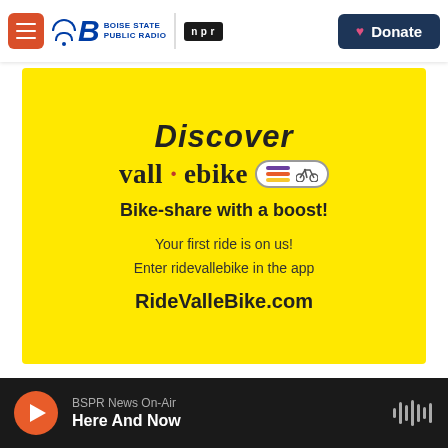Boise State Public Radio | NPR — Donate
[Figure (infographic): Advertisement for vall·ebike bike-share service on yellow background. Text: Discover, vall·ebike, Bike-share with a boost!, Your first ride is on us! Enter ridevallebike in the app, RideValleBike.com]
[Figure (photo): Outdoor photo showing smoky or hazy sky with muted gray-brown tones, possibly wildfire smoke or storm clouds]
BSPR News On-Air — Here And Now